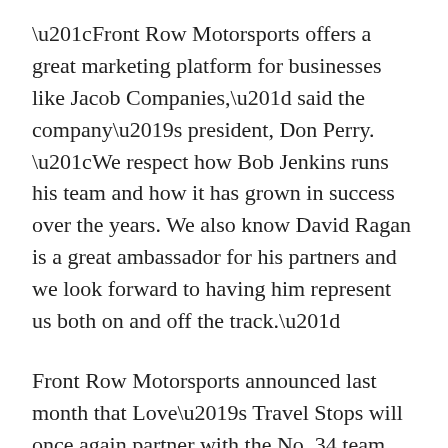“Front Row Motorsports offers a great marketing platform for businesses like Jacob Companies,” said the company’s president, Don Perry. “We respect how Bob Jenkins runs his team and how it has grown in success over the years. We also know David Ragan is a great ambassador for his partners and we look forward to having him represent us both on and off the track.”
Front Row Motorsports announced last month that Love’s Travel Stops will once again partner with the No. 34 team and driver Landon Cassill for 18 races. The team plans to announce additional multi-race partnerships soon and expects to have more race inventory sold entering the 2017 season than it has in any previous year of competition.